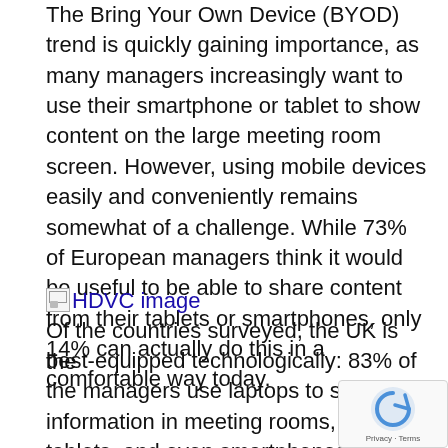The Bring Your Own Device (BYOD) trend is quickly gaining importance, as many managers increasingly want to use their smartphone or tablet to show content on the large meeting room screen. However, using mobile devices easily and conveniently remains somewhat of a challenge. While 73% of European managers think it would be useful to be able to share content from their tablets or smartphones, only 14% can actually do this in a comfortable way today.
[Figure (other): Broken image placeholder labeled 'HDVC image' followed by text beginning 'Of the countries surveyed, the UK is the']
best-equipped technologically: 83% of the managers use laptops to share information in meeting rooms, use tablets, and even smartphones (41%) are no longer an exception. However, being an early adopter also